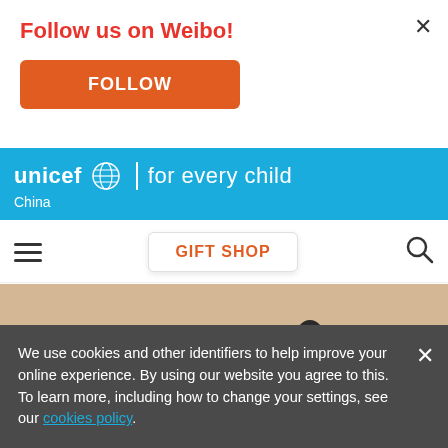Follow us on Weibo!
FOLLOW
[Figure (logo): UNICEF 'for every child' logo on blue background with globe icon, subtitle: China]
GIFT SHOP
[Figure (photo): Classroom with school desks and stools, empty chairs arranged in rows]
©UNICEF/China/2020/Ma Yuyuan
We use cookies and other identifiers to help improve your online experience. By using our website you agree to this. To learn more, including how to change your settings, see our cookies policy.